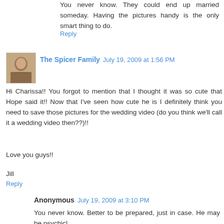You never know. They could end up married someday. Having the pictures handy is the only smart thing to do.
Reply
The Spicer Family July 19, 2009 at 1:56 PM
Hi Charissa!! You forgot to mention that I thought it was so cute that Hope said it!! Now that I've seen how cute he is I definitely think you need to save those pictures for the wedding video (do you think we'll call it a wedding video then??)!!

Love you guys!!

Jill
Reply
Anonymous July 19, 2009 at 3:10 PM
You never know. Better to be prepared, just in case. He may be psychic!